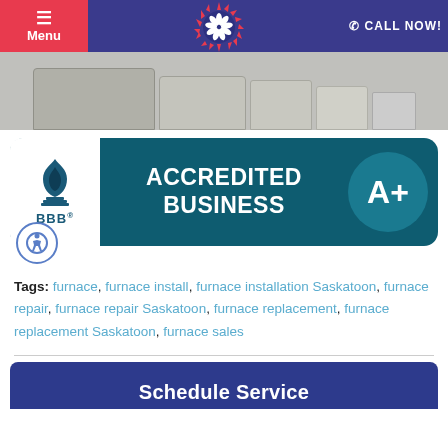Menu | [Logo] | CALL NOW!
[Figure (photo): HVAC/AC unit equipment photo with multiple outdoor units on grey background]
[Figure (logo): BBB Accredited Business A+ rating badge with blue background and BBB flame logo]
Tags: furnace, furnace install, furnace installation Saskatoon, furnace repair, furnace repair Saskatoon, furnace replacement, furnace replacement Saskatoon, furnace sales
Schedule Service